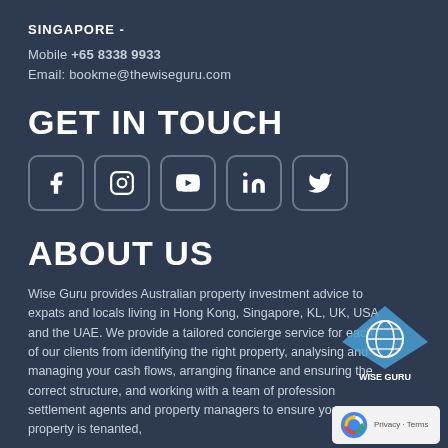SINGAPORE -
Mobile +65 8338 9933
Email: bookme@thewiseguru.com
GET IN TOUCH
[Figure (infographic): Social media icons in rounded rectangular boxes: Facebook, Instagram, YouTube, LinkedIn, Twitter]
ABOUT US
Wise Guru provides Australian property investment advice to expats and locals living in Hong Kong, Singapore, KL, UK, USA and the UAE. We provide a tailored concierge service for each of our clients from identifying the right property, analysing and managing your cash flows, arranging finance and ensuring the correct structure, and working with a team of profession settlement agents and property managers to ensure your property is tenanted,
[Figure (logo): Wise Guru logo — blue diamond shape with globe icon and WISE GURU text]
[Figure (other): reCAPTCHA badge with Privacy and Terms text]